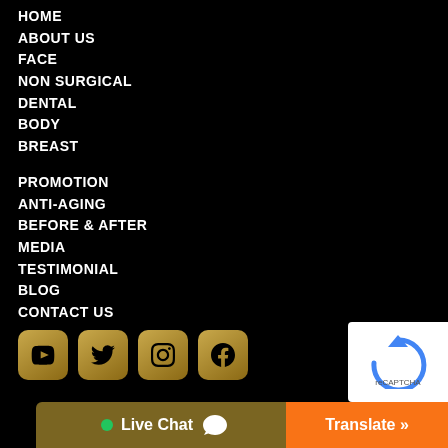HOME
ABOUT US
FACE
NON SURGICAL
DENTAL
BODY
BREAST
PROMOTION
ANTI-AGING
BEFORE & AFTER
MEDIA
TESTIMONIAL
BLOG
CONTACT US
[Figure (other): Social media icon buttons (YouTube, Twitter, Instagram, Facebook) with gold gradient rounded square backgrounds]
[Figure (other): reCAPTCHA widget partially visible in bottom right corner]
Live Chat
Translate »